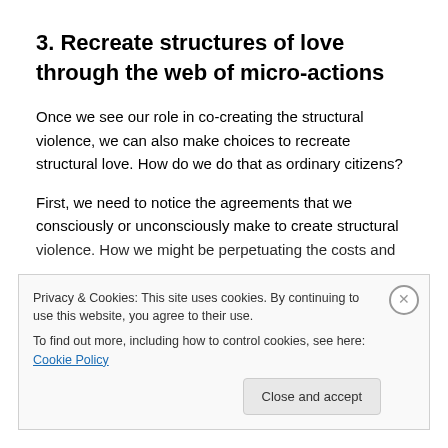3. Recreate structures of love through the web of micro-actions
Once we see our role in co-creating the structural violence, we can also make choices to recreate structural love. How do we do that as ordinary citizens?
First, we need to notice the agreements that we consciously or unconsciously make to create structural violence. How we might be perpetuating the costs and...
Privacy & Cookies: This site uses cookies. By continuing to use this website, you agree to their use.
To find out more, including how to control cookies, see here: Cookie Policy